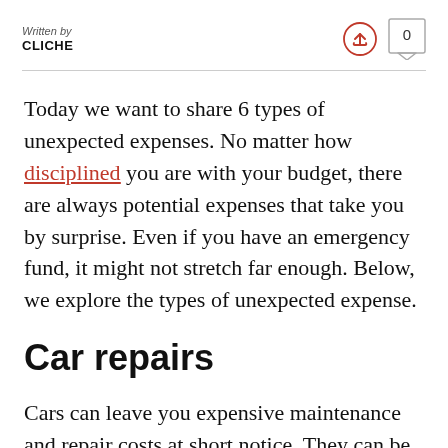Written by
CLICHE
Today we want to share 6 types of unexpected expenses. No matter how disciplined you are with your budget, there are always potential expenses that take you by surprise. Even if you have an emergency fund, it might not stretch far enough. Below, we explore the types of unexpected expense.
Car repairs
Cars can leave you expensive maintenance and repair costs at short notice. They can be tough